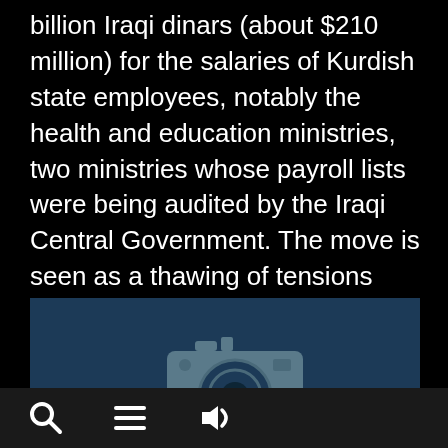billion Iraqi dinars (about $210 million) for the salaries of Kurdish state employees, notably the health and education ministries, two ministries whose payroll lists were being audited by the Iraqi Central Government. The move is seen as a thawing of tensions between Erbil and Baghdad.
[Figure (photo): Image placeholder showing a camera icon on a dark blue background, indicating a photo is unavailable]
Search | Menu | Audio controls